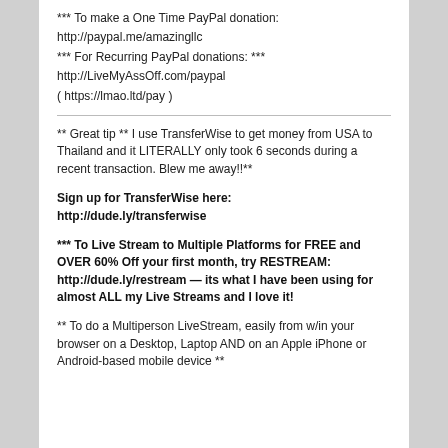*** To make a One Time PayPal donation:
http://paypal.me/amazingllc
*** For Recurring PayPal donations: ***
http://LiveMyAssOff.com/paypal
( https://lmao.ltd/pay )
** Great tip ** I use TransferWise to get money from USA to Thailand and it LITERALLY only took 6 seconds during a recent transaction. Blew me away!!**
Sign up for TransferWise here:
http://dude.ly/transferwise
*** To Live Stream to Multiple Platforms for FREE and OVER 60% Off your first month, try RESTREAM: http://dude.ly/restream — its what I have been using for almost ALL my Live Streams and I love it!
** To do a Multiperson LiveStream, easily from w/in your browser on a Desktop, Laptop AND on an Apple iPhone or Android-based mobile device **